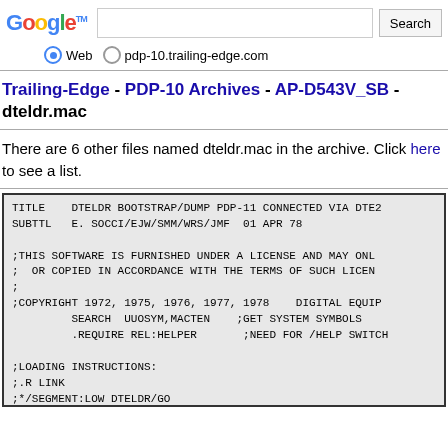[Figure (screenshot): Google search bar with logo, text input field, Search button, Web and pdp-10.trailing-edge.com radio buttons]
Trailing-Edge - PDP-10 Archives - AP-D543V_SB - dteldr.mac
There are 6 other files named dteldr.mac in the archive. Click here to see a list.
TITLE    DTELDR BOOTSTRAP/DUMP PDP-11 CONNECTED VIA DTE20
SUBTTL   E. SOCCI/EJW/SMM/WRS/JMF  01 APR 78

;THIS SOFTWARE IS FURNISHED UNDER A LICENSE AND MAY ONLY
;  OR COPIED IN ACCORDANCE WITH THE TERMS OF SUCH LICENSE
;
;COPYRIGHT 1972, 1975, 1976, 1977, 1978    DIGITAL EQUIP
         SEARCH  UUOSYM,MACTEN    ;GET SYSTEM SYMBOLS
         .REQUIRE REL:HELPER       ;NEED FOR /HELP SWITCH

;LOADING INSTRUCTIONS:
;.R LINK
;*/SEGMENT:LOW DTELDR/GO
;.SAVE DTELDR